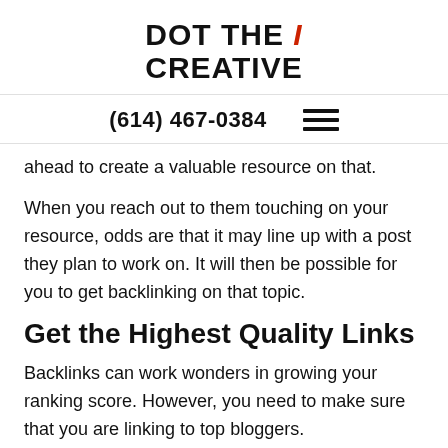DOT THE i CREATIVE
(614) 467-0384
ahead to create a valuable resource on that.
When you reach out to them touching on your resource, odds are that it may line up with a post they plan to work on. It will then be possible for you to get backlinking on that topic.
Get the Highest Quality Links
Backlinks can work wonders in growing your ranking score. However, you need to make sure that you are linking to top bloggers.
Just remember to be courteous and respectful. A good